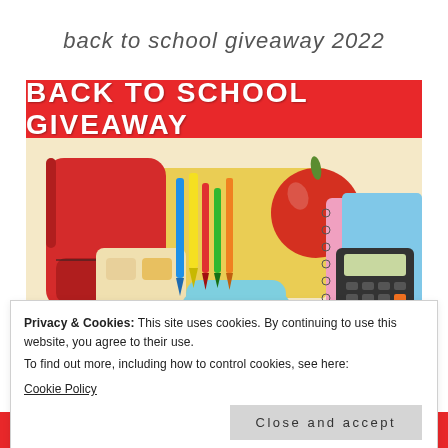back to school giveaway 2022
[Figure (photo): Back to School Giveaway promotional image showing school supplies including a red backpack, colorful pens and pencils, an apple, pink and blue notebooks, a calculator, watercolor paints, and a blue pencil case on a beige/yellow background. Red banner at top reads 'BACK TO SCHOOL GIVEAWAY'.]
Privacy & Cookies: This site uses cookies. By continuing to use this website, you agree to their use.
To find out more, including how to control cookies, see here:
Cookie Policy
Close and accept
KatherinesCorner.Com